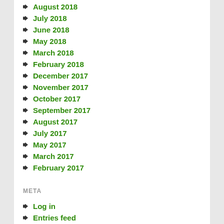August 2018
July 2018
June 2018
May 2018
March 2018
February 2018
December 2017
November 2017
October 2017
September 2017
August 2017
July 2017
May 2017
March 2017
February 2017
META
Log in
Entries feed
Comments feed
WordPress.org